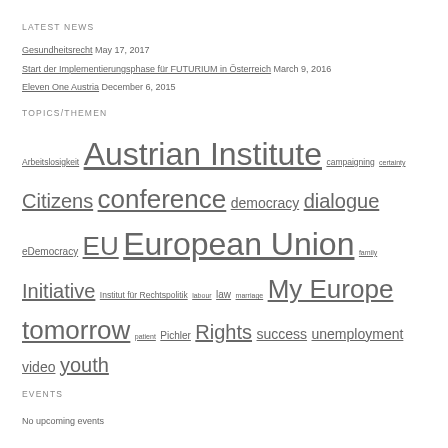LATEST NEWS
Gesundheitsrecht May 17, 2017
Start der Implementierungsphase für FUTURIUM in Österreich March 9, 2016
Eleven One Austria December 6, 2015
TOPICS/THEMEN
Arbeitslosigkeit Austrian Institute campaigning certainty Citizens conference democracy dialogue eDemocracy EU European Union family Initiative Institut für Rechtspolitik labour law marriage My Europe tomorrow patient Pichler Rights success unemployment video youth
EVENTS
No upcoming events